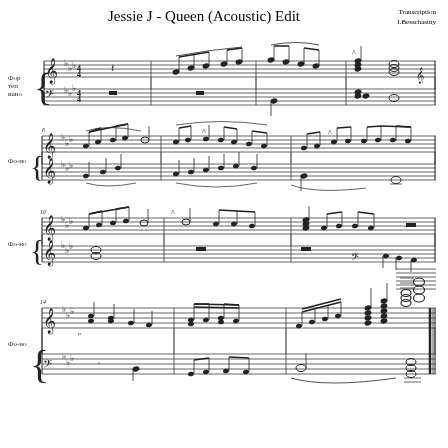Jessie J - Queen (Acoustic) Edit
Transcription
I.Besschastny
[Figure (illustration): Piano sheet music for 'Jessie J - Queen (Acoustic) Edit', transcribed by I.Besschastny. Contains 4 systems of grand staff piano notation in what appears to be Eb major/C minor, 4/4 time. System 1 (measures 1-5): labeled 'Фортепиано' with treble and bass clef. System 2 (measures 6-9): labeled 'Фо-но' with treble and treble clef. System 3 (measures 10-13): labeled 'Фо-но' with treble and treble clef. System 4 (measures 14+): labeled 'Фо-но' with treble and bass clef, featuring ascending runs and chord clusters at the end.]